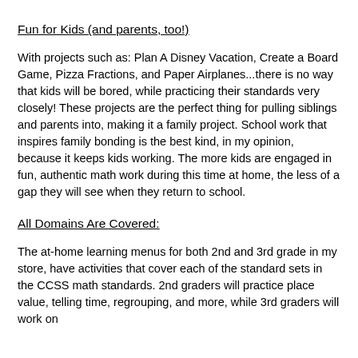Fun for Kids (and parents, too!)
With projects such as: Plan A Disney Vacation, Create a Board Game, Pizza Fractions, and Paper Airplanes...there is no way that kids will be bored, while practicing their standards very closely! These projects are the perfect thing for pulling siblings and parents into, making it a family project. School work that inspires family bonding is the best kind, in my opinion, because it keeps kids working. The more kids are engaged in fun, authentic math work during this time at home, the less of a gap they will see when they return to school.
All Domains Are Covered:
The at-home learning menus for both 2nd and 3rd grade in my store, have activities that cover each of the standard sets in the CCSS math standards. 2nd graders will practice place value, telling time, regrouping, and more, while 3rd graders will work on